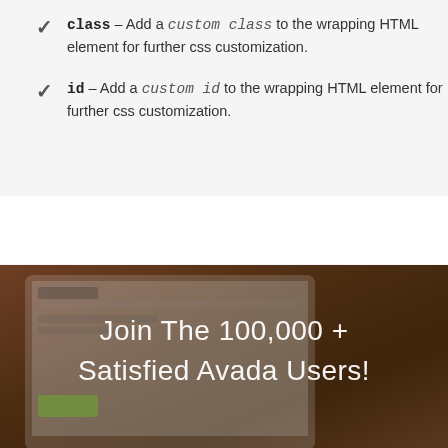class – Add a custom class to the wrapping HTML element for further css customization.
id – Add a custom id to the wrapping HTML element for further css customization.
[Figure (screenshot): Screenshot of Avada theme website displayed on a laptop, with overlaid text 'Join The 100,000+ Satisfied Avada Users!']